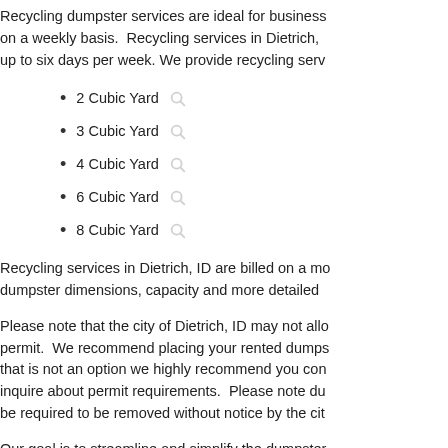Recycling dumpster services are ideal for businesses that need their recycling picked up on a weekly basis. Recycling services in Dietrich, ID are typically available up to six days per week. We provide recycling serv...
2 Cubic Yard
3 Cubic Yard
4 Cubic Yard
6 Cubic Yard
8 Cubic Yard
Recycling services in Dietrich, ID are billed on a mo... dumpster dimensions, capacity and more detailed...
Please note that the city of Dietrich, ID may not all... permit. We recommend placing your rented dumps... that is not an option we highly recommend you con... inquire about permit requirements. Please note du... be required to be removed without notice by the cit...
Our goal is to streamline and simplify the dumpster... have achieved this goal by combining the ease and... industry. We accept all major credit cards enabling... enter your zip code, select the appropriate dumpst... site. Your dumpster will arrive on the date and loca... DumpstersofAmerica.com. Order your dumpster in...